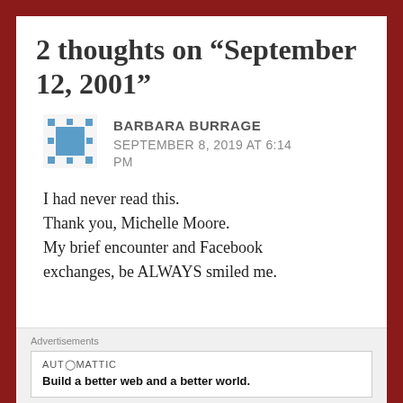2 thoughts on “September 12, 2001”
BARBARA BURRAGE
SEPTEMBER 8, 2019 AT 6:14 PM
I had never read this.
Thank you, Michelle Moore.
My brief encounter and Facebook exchanges, be ALWAYS smiled me.
Advertisements
AUT⓪ MATTIC
Build a better web and a better world.